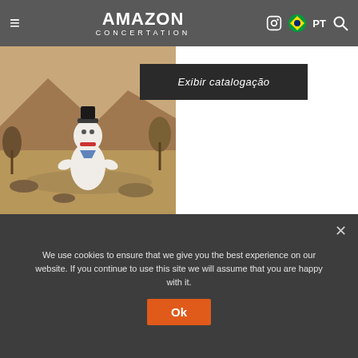AMAZON CONCERTATION — Navigation bar with hamburger menu, logo, Instagram icon, Brazil flag, PT, search icon
[Figure (photo): Sepia-toned vintage photograph of a landscape with a white marshmallow-like cartoon figure superimposed in the center foreground. Caption text at bottom reads in Portuguese.]
Exibir catalogação
2021 Year in Review and 2022 Outlook
Having art as a sensitive pillar that mobilizes, captivates and brings people together, a recordin...
We use cookies to ensure that we give you the best experience on our website. If you continue to use this site we will assume that you are happy with it.